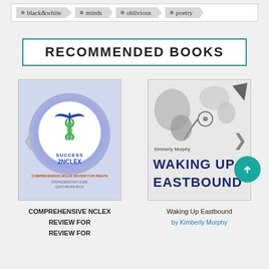black&white
minds
oblivious
poetry
RECOMMENDED BOOKS
[Figure (photo): Book cover: Comprehensive NCLEX Review for RN/LPN - Strategies/Study Guide Quick Review Book, featuring a caduceus medical symbol with SUCCESS 2NCLEX text on a circular badge with blue/purple glowing background]
COMPREHENSIVE NCLEX REVIEW FOR...
[Figure (photo): Book cover: Waking Up Eastbound by Kimberly Murphy - grayscale illustration showing abstract biological/anatomical elements, with bold dark title text]
Waking Up Eastbound by Kimberly Murphy